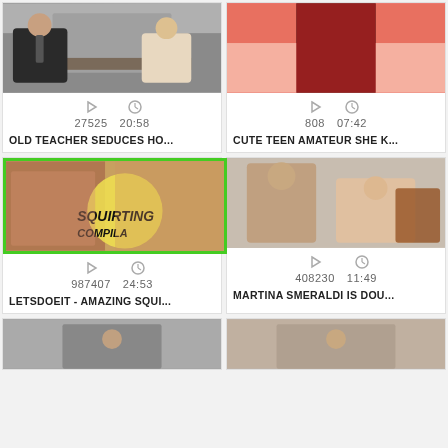[Figure (screenshot): Video thumbnail: office scene with suited man and woman]
27525  20:58
OLD TEACHER SEDUCES HO...
[Figure (screenshot): Video thumbnail: woman in red/pink outfit]
808  07:42
CUTE TEEN AMATEUR SHE K...
[Figure (screenshot): Video thumbnail: squirting compilation with green border]
987407  24:53
LETSDOEIT - AMAZING SQUI...
[Figure (screenshot): Video thumbnail: man and woman scene]
408230  11:49
MARTINA SMERALDI IS DOU...
[Figure (screenshot): Video thumbnail: partial view bottom left]
[Figure (screenshot): Video thumbnail: partial view bottom right]